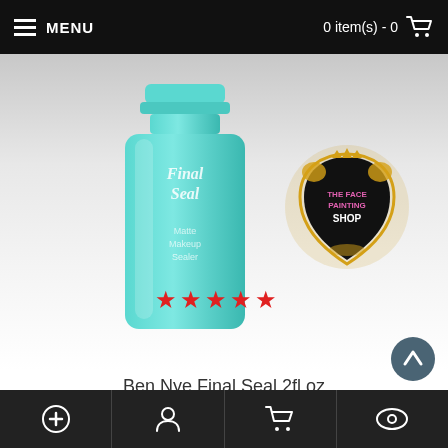MENU   0 item(s) - 0
[Figure (photo): Teal/turquoise bottle of Ben Nye Final Seal 2fl.oz product with text on label, shown with five red stars below it, and The Face Painting Shop logo badge to the right]
Ben Nye Final Seal 2fl.oz
£15.48
ADD TO CART
Add to Wish List   Add to Compare
Bottom navigation bar with plus, person, cart, and eye icons